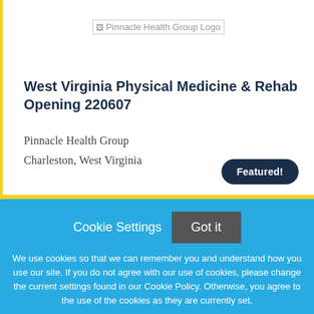[Figure (logo): Pinnacle Health Group Logo placeholder image]
West Virginia Physical Medicine & Rehab Opening 220607
Pinnacle Health Group
Charleston, West Virginia
Featured!
Cookie Settings
Got it
We use cookies so that we can remember you and understand how you use our site. If you do not agree with our use of cookies, please change the current settings found in our Cookie Policy. Otherwise, you agree to the use of the cookies as they are currently set.